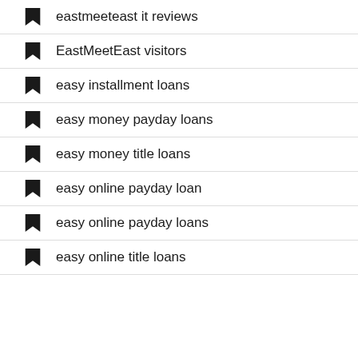eastmeeteast it reviews
EastMeetEast visitors
easy installment loans
easy money payday loans
easy money title loans
easy online payday loan
easy online payday loans
easy online title loans